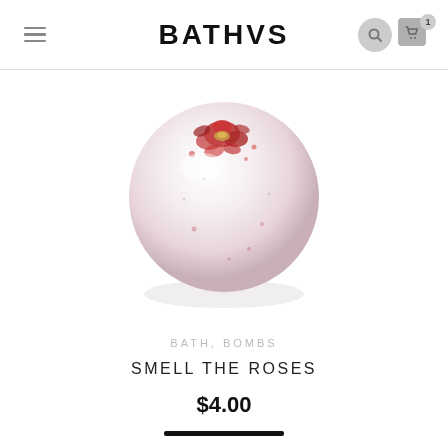BATHVS
[Figure (photo): A round white and light pink bath bomb with dried rose petals and flowers on top, photographed from above on a white background.]
BATH, BOMBS
SMELL THE ROSES
$4.00